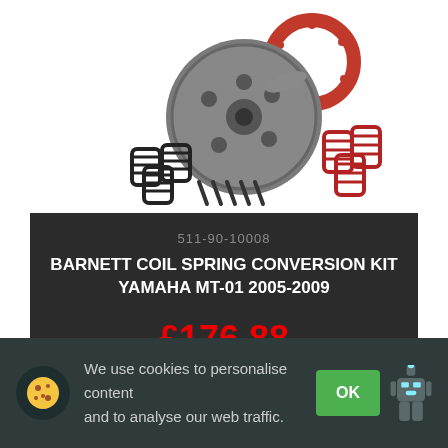[Figure (photo): Barnett clutch coil spring conversion kit product photo showing a metal clutch pressure plate disc, a red ring gasket, black coil springs, red coil springs, and screws/bolts on a white background]
511-90-10008
BARNETT COIL SPRING CONVERSION KIT YAMAHA MT-01 2005-2009
£176.88
We use cookies to personalise content and to analyse our web traffic.